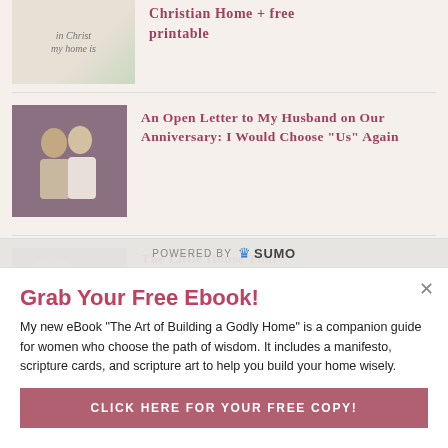[Figure (illustration): Thumbnail of a handwritten script image with text about Christian Home and a free printable]
Christian Home + free printable
[Figure (photo): Photo of a couple dancing at what appears to be a wedding or formal event]
An Open Letter to My Husband on Our Anniversary: I Would Choose “Us” Again
[Figure (photo): Partially visible photo related to The Little House That Could article]
The Little House That Could: How to Thrive in
POWERED BY SUMO
Grab Your Free Ebook!
My new eBook "The Art of Building a Godly Home" is a companion guide for women who choose the path of wisdom. It includes a manifesto, scripture cards, and scripture art to help you build your home wisely.
CLICK HERE FOR YOUR FREE COPY!